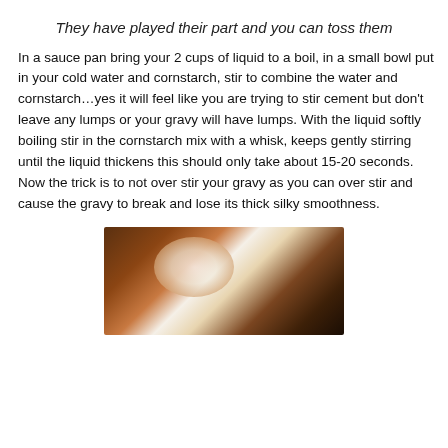They have played their part and you can toss them
In a sauce pan bring your 2 cups of liquid to a boil, in a small bowl put in your cold water and cornstarch, stir to combine the water and cornstarch…yes it will feel like you are trying to stir cement but don't leave any lumps or your gravy will have lumps. With the liquid softly boiling stir in the cornstarch mix with a whisk, keeps gently stirring until the liquid thickens this should only take about 15-20 seconds. Now the trick is to not over stir your gravy as you can over stir and cause the gravy to break and lose its thick silky smoothness.
[Figure (photo): Photo of food dish, appears to show a gravy or cream-based dish with brown and white coloring on a plate]